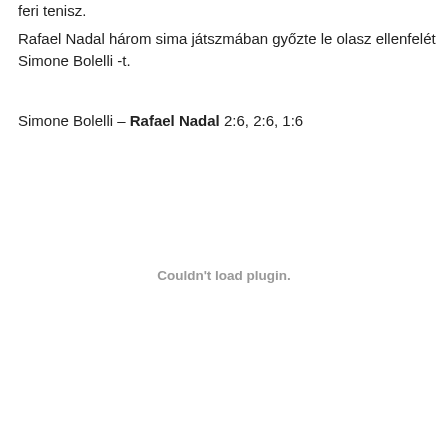feri tenisz.
Rafael Nadal három sima játszmában győzte le olasz ellenfelét Simone Bolelli -t.
Simone Bolelli – Rafael Nadal 2:6, 2:6, 1:6
Couldn't load plugin.